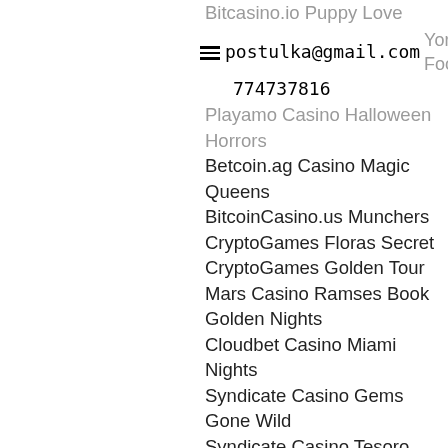Bitcasino.io Puppy Love
postulka@gmail.com York Food
774737816
Playamo Casino Halloween Horrors
Betcoin.ag Casino Magic Queens
BitcoinCasino.us Munchers
CryptoGames Floras Secret
CryptoGames Golden Tour
Mars Casino Ramses Book Golden Nights
Cloudbet Casino Miami Nights
Syndicate Casino Gems Gone Wild
Syndicate Casino Tesoro Pirata
FortuneJack Casino Ancient Secret
BetChain Casino Wild Wild Chest
Betchan Casino Spellcast
Betcoin.ag Casino StarQuest
https://www.daytodaymom.com/profile/marielaolive11020255/profile
https://www.lidibutique.com/profile/adanlahr19361609/profile
https://www.bixbeefarms.com/profile/aurelioveader5998097/profile